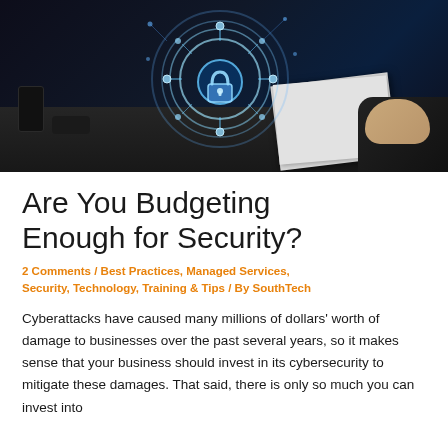[Figure (photo): A professional in a dark suit working at a desk with papers, with a glowing blue cybersecurity network/lock hologram overlay on a dark background]
Are You Budgeting Enough for Security?
2 Comments / Best Practices, Managed Services, Security, Technology, Training & Tips / By SouthTech
Cyberattacks have caused many millions of dollars' worth of damage to businesses over the past several years, so it makes sense that your business should invest in its cybersecurity to mitigate these damages. That said, there is only so much you can invest into